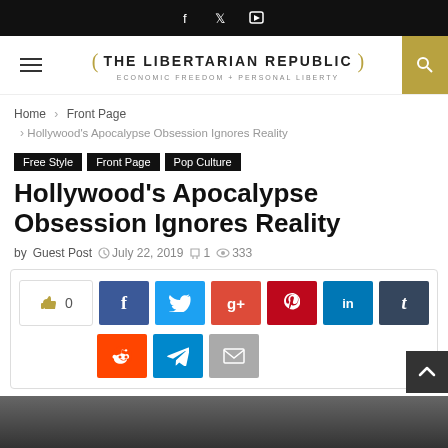THE LIBERTARIAN REPUBLIC — ECONOMIC FREEDOM + PERSONAL LIBERTY
Home > Front Page > Hollywood's Apocalypse Obsession Ignores Reality
Free Style
Front Page
Pop Culture
Hollywood's Apocalypse Obsession Ignores Reality
by Guest Post  July 22, 2019  1  333
[Figure (other): Social share buttons including like counter (0), Facebook, Twitter, Google+, Pinterest, LinkedIn, Tumblr, Reddit, Telegram, and Email]